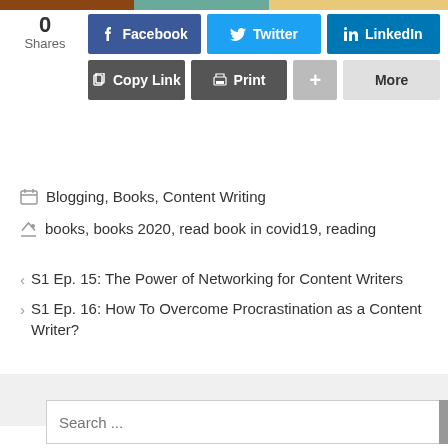0 Shares
[Figure (screenshot): Social sharing buttons: Facebook, Twitter, LinkedIn (top row); Copy Link, Print, More (bottom row)]
Blogging, Books, Content Writing
books, books 2020, read book in covid19, reading
< S1 Ep. 15: The Power of Networking for Content Writers
> S1 Ep. 16: How To Overcome Procrastination as a Content Writer?
Search ...